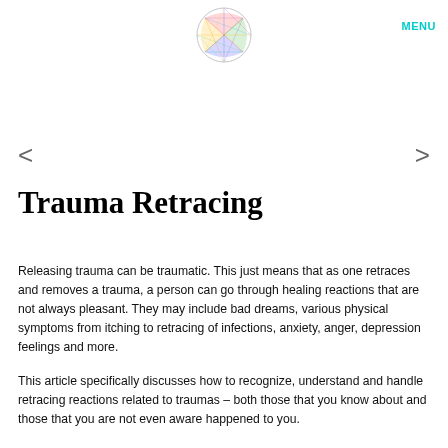[Figure (logo): Circular colorful network/chord diagram logo]
MENU
<
>
Trauma Retracing
Releasing trauma can be traumatic.  This just means that as one retraces and removes a trauma, a person can go through healing reactions that are not always pleasant.  They may include bad dreams, various physical symptoms from itching to retracing of infections, anxiety, anger, depression feelings and more.
This article specifically discusses how to recognize, understand and handle retracing reactions related to traumas – both those that you know about and those that you are not even aware happened to you.